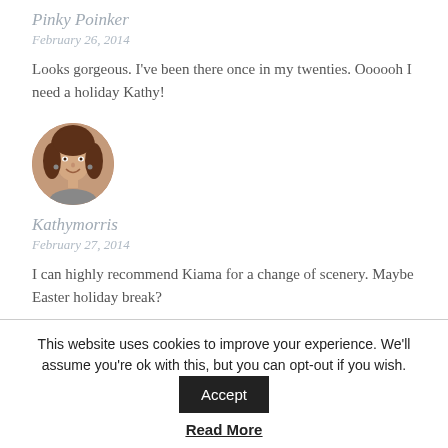Pinky Poinker
February 26, 2014
Looks gorgeous. I've been there once in my twenties. Oooooh I need a holiday Kathy!
[Figure (photo): Circular avatar photo of a woman with brown hair, smiling]
Kathymorris
February 27, 2014
I can highly recommend Kiama for a change of scenery. Maybe Easter holiday break?
This website uses cookies to improve your experience. We'll assume you're ok with this, but you can opt-out if you wish.
Read More